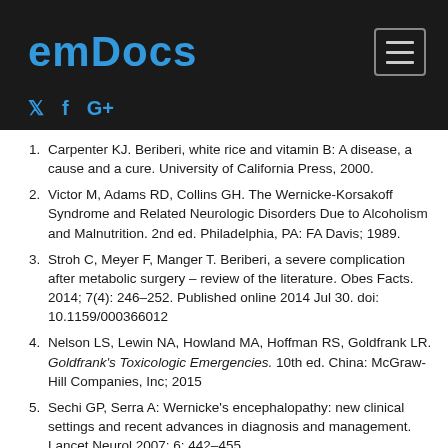emDocs
Carpenter KJ. Beriberi, white rice and vitamin B: A disease, a cause and a cure. University of California Press, 2000.
Victor M, Adams RD, Collins GH. The Wernicke-Korsakoff Syndrome and Related Neurologic Disorders Due to Alcoholism and Malnutrition. 2nd ed. Philadelphia, PA: FA Davis; 1989.
Stroh C, Meyer F, Manger T. Beriberi, a severe complication after metabolic surgery – review of the literature. Obes Facts. 2014; 7(4): 246–252. Published online 2014 Jul 30. doi: 10.1159/000366012
Nelson LS, Lewin NA, Howland MA, Hoffman RS, Goldfrank LR. Goldfrank's Toxicologic Emergencies. 10th ed. China: McGraw-Hill Companies, Inc; 2015
Sechi GP, Serra A: Wernicke's encephalopathy: new clinical settings and recent advances in diagnosis and management. Lancet Neurol 2007; 6: 442–455.